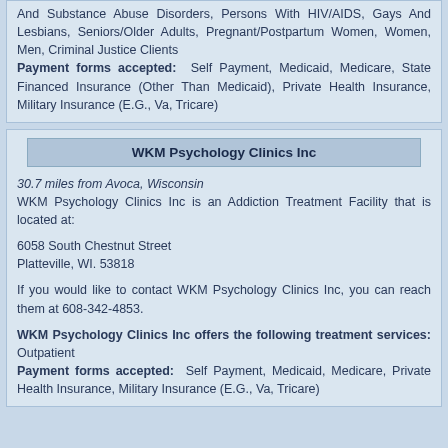And Substance Abuse Disorders, Persons With HIV/AIDS, Gays And Lesbians, Seniors/Older Adults, Pregnant/Postpartum Women, Women, Men, Criminal Justice Clients
Payment forms accepted: Self Payment, Medicaid, Medicare, State Financed Insurance (Other Than Medicaid), Private Health Insurance, Military Insurance (E.G., Va, Tricare)
WKM Psychology Clinics Inc
30.7 miles from Avoca, Wisconsin
WKM Psychology Clinics Inc is an Addiction Treatment Facility that is located at:

6058 South Chestnut Street
Platteville, WI. 53818

If you would like to contact WKM Psychology Clinics Inc, you can reach them at 608-342-4853.

WKM Psychology Clinics Inc offers the following treatment services: Outpatient
Payment forms accepted: Self Payment, Medicaid, Medicare, Private Health Insurance, Military Insurance (E.G., Va, Tricare)